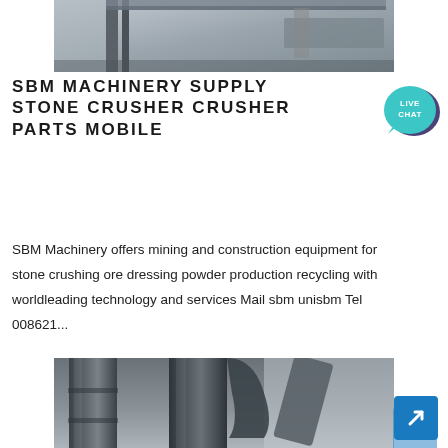[Figure (photo): Industrial machinery equipment top view, grey metal components]
SBM MACHINERY SUPPLY STONE CRUSHER CRUSHER PARTS MOBILE
[Figure (illustration): Live Chat button icon - teal speech bubble with LIVE CHAT text]
SBM Machinery offers mining and construction equipment for stone crushing ore dressing powder production recycling with worldleading technology and services Mail sbm unisbm Tel 008621...
[Figure (photo): Industrial stone crusher equipment with large pipes and ductwork in a factory setting]
[Figure (illustration): Blue arrow button icon for navigation]